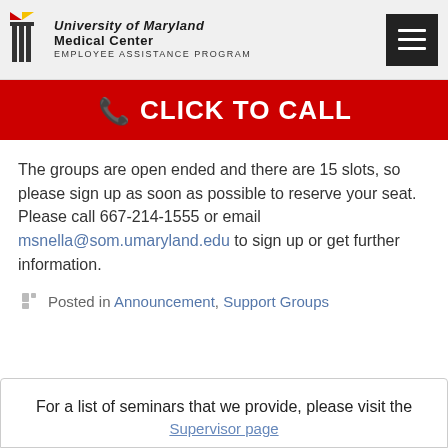University of Maryland Medical Center Employee Assistance Program
CLICK TO CALL
The groups are open ended and there are 15 slots, so please sign up as soon as possible to reserve your seat.  Please call 667-214-1555 or email msnella@som.umaryland.edu to sign up or get further information.
Posted in Announcement, Support Groups
For a list of seminars that we provide, please visit the Supervisor page